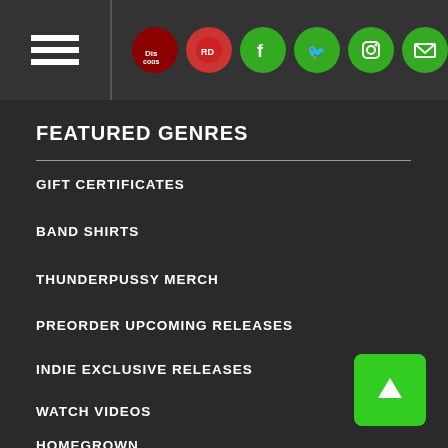Navigation header with hamburger menu and social icons (Discogs, Facebook, Twitter, Instagram, Email)
FEATURED GENRES
GIFT CERTIFICATES
BAND SHIRTS
THUNDERPUSSY MERCH
PREORDER UPCOMING RELEASES
INDIE EXCLUSIVE RELEASES
WATCH VIDEOS
HOMEGROWN